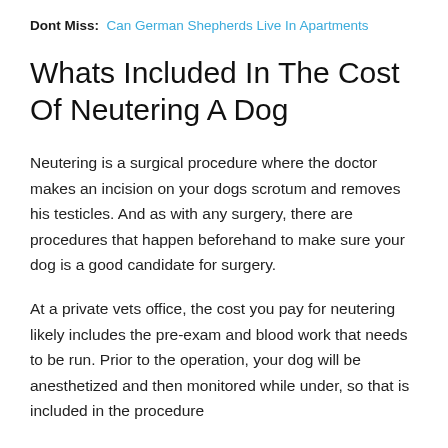Dont Miss: Can German Shepherds Live In Apartments
Whats Included In The Cost Of Neutering A Dog
Neutering is a surgical procedure where the doctor makes an incision on your dogs scrotum and removes his testicles. And as with any surgery, there are procedures that happen beforehand to make sure your dog is a good candidate for surgery.
At a private vets office, the cost you pay for neutering likely includes the pre-exam and blood work that needs to be run. Prior to the operation, your dog will be anesthetized and then monitored while under, so that is included in the procedure